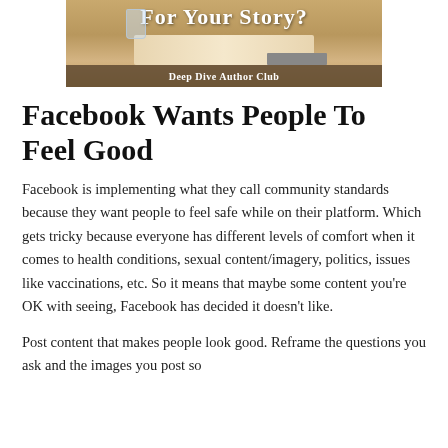[Figure (illustration): Banner image showing text 'For Your Story?' at top in bold white font, a desk scene with notebook and glass, and a dark footer bar reading 'Deep Dive Author Club' in white text.]
Facebook Wants People To Feel Good
Facebook is implementing what they call community standards because they want people to feel safe while on their platform. Which gets tricky because everyone has different levels of comfort when it comes to health conditions, sexual content/imagery, politics, issues like vaccinations, etc. So it means that maybe some content you're OK with seeing, Facebook has decided it doesn't like.
Post content that makes people look good. Reframe the questions you ask and the images you post so